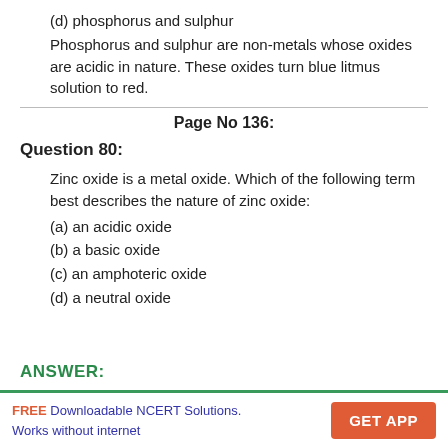(d) phosphorus and sulphur
Phosphorus and sulphur are non-metals whose oxides are acidic in nature. These oxides turn blue litmus solution to red.
Page No 136:
Question 80:
Zinc oxide is a metal oxide. Which of the following term best describes the nature of zinc oxide:
(a) an acidic oxide
(b) a basic oxide
(c) an amphoteric oxide
(d) a neutral oxide
ANSWER:
FREE Downloadable NCERT Solutions. Works without internet | GET APP